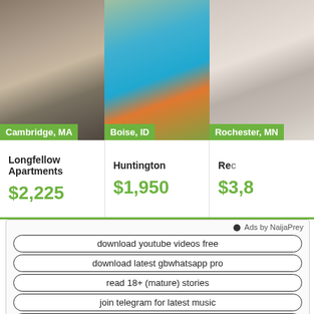[Figure (photo): Three apartment listing photos side by side: Cambridge MA street scene, Boise ID pool area, Rochester MN interior]
Cambridge, MA
Boise, ID
Rochester, MN
Longfellow Apartments
$2,225
Huntington
$1,950
Rec
$3,8
Ads by NaijaPrey
download youtube videos free
download latest gbwhatsapp pro
read 18+ (mature) stories
join telegram for latest music
join telegram for action movies